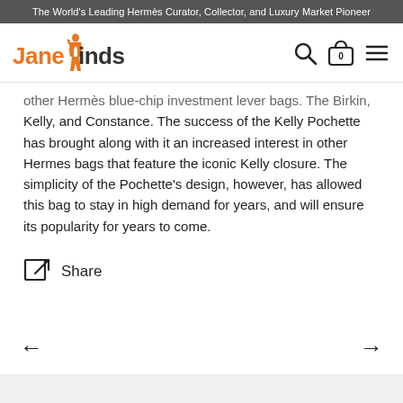The World's Leading Hermès Curator, Collector, and Luxury Market Pioneer
[Figure (logo): JaneFinds logo with stylized female figure in orange, text 'JaneFinds' in orange/black]
other Hermès blue-chip investment lever bags. The Birkin, Kelly, and Constance. The success of the Kelly Pochette has brought along with it an increased interest in other Hermes bags that feature the iconic Kelly closure. The simplicity of the Pochette's design, however, has allowed this bag to stay in high demand for years, and will ensure its popularity for years to come.
Share
← →